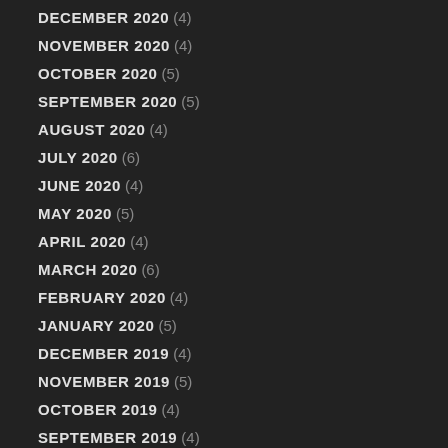DECEMBER 2020 (4)
NOVEMBER 2020 (4)
OCTOBER 2020 (5)
SEPTEMBER 2020 (5)
AUGUST 2020 (4)
JULY 2020 (6)
JUNE 2020 (4)
MAY 2020 (5)
APRIL 2020 (4)
MARCH 2020 (6)
FEBRUARY 2020 (4)
JANUARY 2020 (5)
DECEMBER 2019 (4)
NOVEMBER 2019 (5)
OCTOBER 2019 (4)
SEPTEMBER 2019 (4)